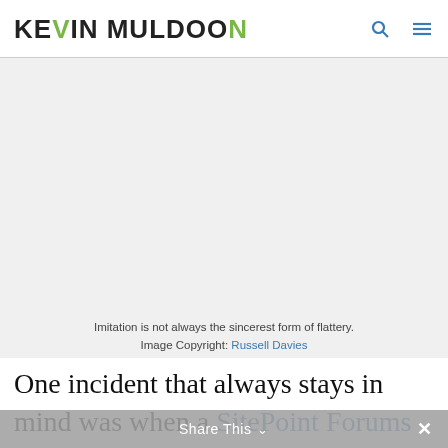Kevin Muldoon
[Figure (photo): Large image area with light gray background — advertisement or photo placeholder]
Imitation is not always the sincerest form of flattery.
Image Copyright: Russell Davies
One incident that always stays in mind was when a SitePoint Forums member called Nintendo shared a script that he had
Share This